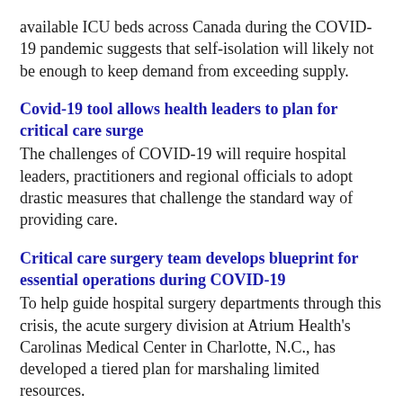available ICU beds across Canada during the COVID-19 pandemic suggests that self-isolation will likely not be enough to keep demand from exceeding supply.
Covid-19 tool allows health leaders to plan for critical care surge
The challenges of COVID-19 will require hospital leaders, practitioners and regional officials to adopt drastic measures that challenge the standard way of providing care.
Critical care surgery team develops blueprint for essential operations during COVID-19
To help guide hospital surgery departments through this crisis, the acute surgery division at Atrium Health's Carolinas Medical Center in Charlotte, N.C., has developed a tiered plan for marshaling limited resources.
Study: Critical care improvements may differ depending